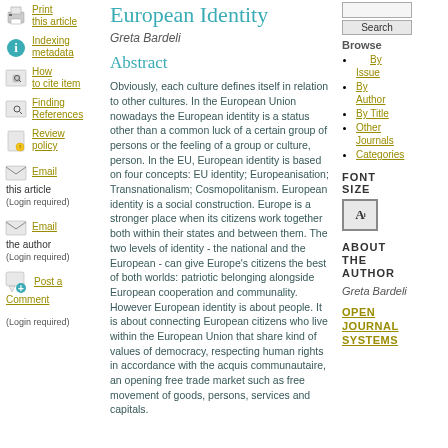Print this article
Indexing metadata
How to cite item
Finding References
Review policy
Email this article (Login required)
Email the author (Login required)
Post a Comment (Login required)
European Identity
Greta Bardeli
Abstract
Obviously, each culture defines itself in relation to other cultures. In the European Union nowadays the European identity is a status other than a common luck of a certain group of persons or the feeling of a group or culture, person. In the EU, European identity is based on four concepts: EU identity; Europeanisation; Transnationalism; Cosmopolitanism. European identity is a social construction. Europe is a stronger place when its citizens work together both within their states and between them. The two levels of identity - the national and the European - can give Europe's citizens the best of both worlds: patriotic belonging alongside European cooperation and communality. However European identity is about people. It is about connecting European citizens who live within the European Union that share kind of values of democracy, respecting human rights in accordance with the acquis communautaire, an opening free trade market such as free movement of goods, persons, services and capitals.
Search
Browse
By Issue
By Author
By Title
Other Journals
Categories
FONT SIZE
ABOUT THE AUTHOR
Greta Bardeli
OPEN JOURNAL SYSTEMS